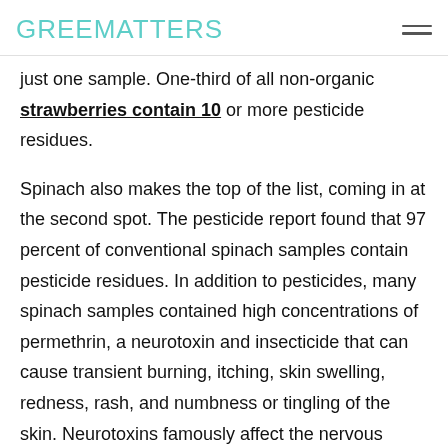GREENMATTERS
just one sample. One-third of all non-organic strawberries contain 10 or more pesticide residues.
Spinach also makes the top of the list, coming in at the second spot. The pesticide report found that 97 percent of conventional spinach samples contain pesticide residues. In addition to pesticides, many spinach samples contained high concentrations of permethrin, a neurotoxin and insecticide that can cause transient burning, itching, skin swelling, redness, rash, and numbness or tingling of the skin. Neurotoxins famously affect the nervous system, as they are destructive to nerve tissue. Other foods